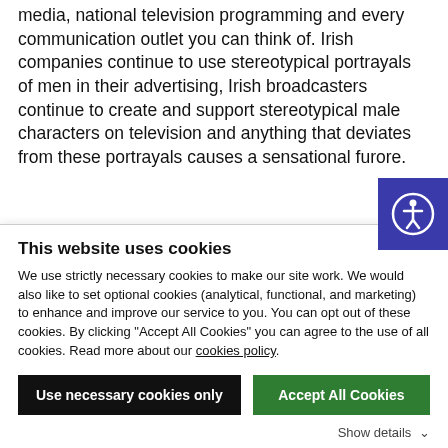media, national television programming and every communication outlet you can think of. Irish companies continue to use stereotypical portrayals of men in their advertising, Irish broadcasters continue to create and support stereotypical male characters on television and anything that deviates from these portrayals causes a sensational furore.
Ivan's outlook and androgynous modelling career be new in the public sphere of the Irish psyche but are vital if we are to relax our views on what male gender norms are. Many men, just like women, struggle with
This website uses cookies
We use strictly necessary cookies to make our site work. We would also like to set optional cookies (analytical, functional, and marketing) to enhance and improve our service to you. You can opt out of these cookies. By clicking "Accept All Cookies" you can agree to the use of all cookies. Read more about our cookies policy.